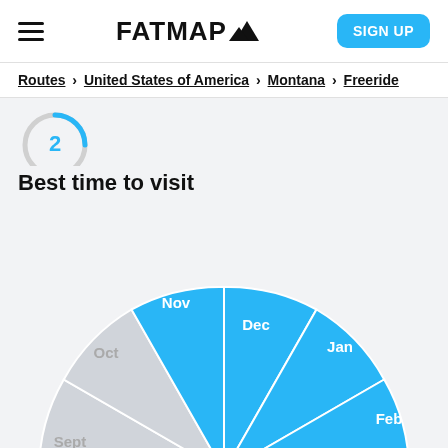FATMAP (with mountain logo) | SIGN UP
Routes > United States of America > Montana > Freeride
[Figure (other): Partial circular rating indicator showing number 2 in blue]
Best time to visit
[Figure (pie-chart): Pie chart showing best months to visit. Blue (recommended) months: Dec, Jan, Feb, Mar, Apr, May, Nov. Grey (not recommended) months: Aug, Sept, Oct.]